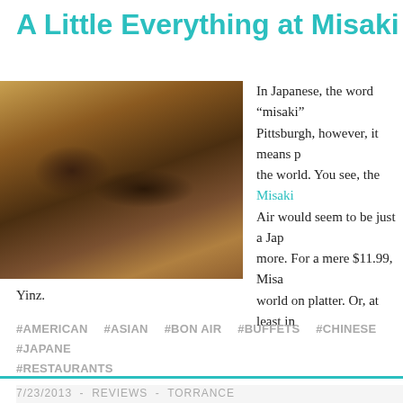A Little Everything at Misaki
[Figure (photo): Close-up photo of sushi rolls arranged on a dark tray, shown from a low angle on a wooden surface]
Yinz.
In Japanese, the word “misaki” Pittsburgh, however, it means the world. You see, the Misaki Air would seem to be just a Ja more. For a mere $11.99, Misa world on platter. Or, at least in
#AMERICAN  #ASIAN  #BON AIR  #BUFFETS  #CHINESE  #JAPANE #RESTAURANTS
7/23/2013  -  REVIEWS  -  TORRANCE